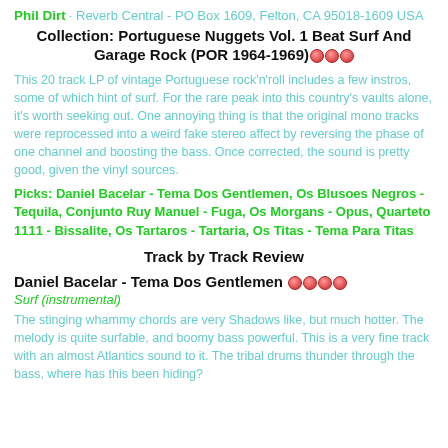Phil Dirt   Reverb Central - PO Box 1609, Felton, CA 95018-1609 USA
Collection: Portuguese Nuggets Vol. 1 Beat Surf And Garage Rock (POR 1964-1969)
This 20 track LP of vintage Portuguese rock'n'roll includes a few instros, some of which hint of surf. For the rare peak into this country's vaults alone, it's worth seeking out. One annoying thing is that the original mono tracks were reprocessed into a weird fake stereo affect by reversing the phase of one channel and boosting the bass. Once corrected, the sound is pretty good, given the vinyl sources.
Picks: Daniel Bacelar - Tema Dos Gentlemen, Os Blusoes Negros - Tequila, Conjunto Ruy Manuel - Fuga, Os Morgans - Opus, Quarteto 1111 - Bissalite, Os Tartaros - Tartaria, Os Titas - Tema Para Titas
Track by Track Review
Daniel Bacelar - Tema Dos Gentlemen
Surf (instrumental)
The stinging whammy chords are very Shadows like, but much hotter. The melody is quite surfable, and boomy bass powerful. This is a very fine track with an almost Atlantics sound to it. The tribal drums thunder through the bass, where has this been hiding?